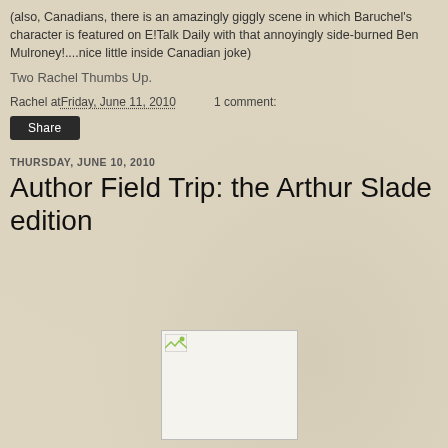(also, Canadians, there is an amazingly giggly scene in which Baruchel's character is featured on E!Talk Daily with that annoyingly side-burned Ben Mulroney!....nice little inside Canadian joke)
Two Rachel Thumbs Up.
Rachel at Friday, June 11, 2010   1 comment:
Share
THURSDAY, JUNE 10, 2010
Author Field Trip: the Arthur Slade edition
[Figure (photo): Broken image placeholder for a photo related to the Arthur Slade edition post]